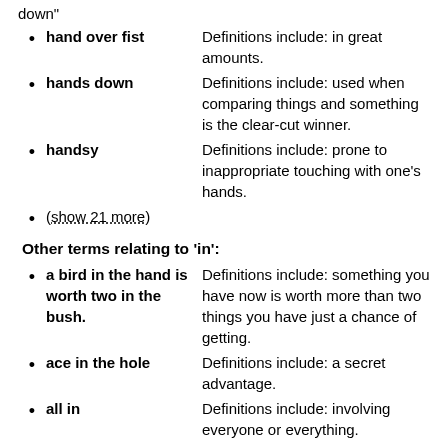down"
hand over fist — Definitions include: in great amounts.
hands down — Definitions include: used when comparing things and something is the clear-cut winner.
handsy — Definitions include: prone to inappropriate touching with one's hands.
(show 21 more)
Other terms relating to 'in':
a bird in the hand is worth two in the bush. — Definitions include: something you have now is worth more than two things you have just a chance of getting.
ace in the hole — Definitions include: a secret advantage.
all in — Definitions include: involving everyone or everything.
all up in — Definitions include: doing something emphatically.
an ice cube's chance in hell — Definitions include: no chance.